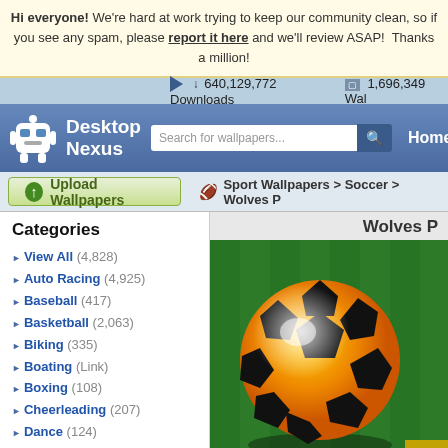Hi everyone! We're hard at work trying to keep our community clean, so if you see any spam, please report it here and we'll review ASAP!  Thanks a million!
640,129,772 Downloads   1,696,349 Wallpapers
[Figure (logo): Desktop Nexus logo with white robot mascot icon and 'Desktop Nexus' text in white on blue navigation bar, with search box and Home link]
Upload Wallpapers
Sport Wallpapers > Soccer > Wolves P...
Categories
View All (4,828)
Auto Racing (4,925)
Baseball (417)
Basketball (2,063)
Biking (335)
Boating (Link)
Boxing (108)
Cheerleading (207)
Dance (124)
Equestrian (122)
Fishing (80)
Football (3,135)
Golf (166)
Hockey (516)
Hunting (566)
Wolves P...
[Figure (photo): An orange and black soccer ball resting on green grass, with a partial yellow geometric shape in the lower right corner]